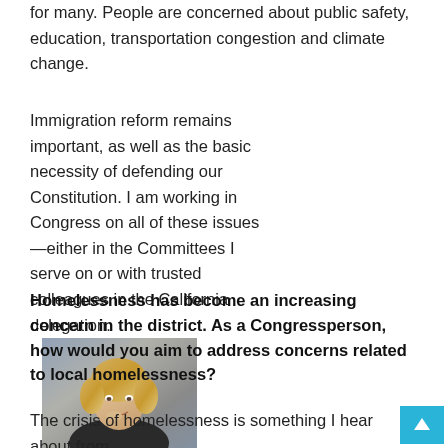for many. People are concerned about public safety, education, transportation congestion and climate change.
Immigration reform remains important, as well as the basic necessity of defending our Constitution. I am working in Congress on all of these issues—either in the Committees I serve on or with trusted colleagues in the California delegation.
[Figure (photo): Photo of Congresswoman Zoe Lofgren sitting and smiling, wearing a dark jacket, in an indoor setting.]
Congresswoman Zoe Lofgren
Homelessness has become an increasing concern in the district. As a Congressperson, how would you aim to address concerns related to local homelessness?
The crisis of homelessness is something I hear about from